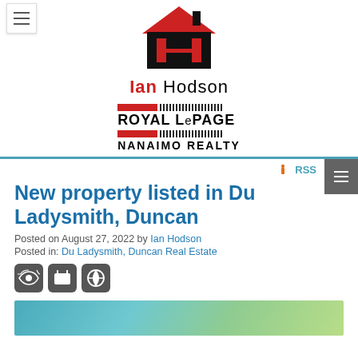[Figure (logo): Ian Hodson Royal LePage Nanaimo Realty logo with house graphic and H emblem]
New property listed in Du Ladysmith, Duncan
Posted on August 27, 2022 by Ian Hodson
Posted in: Du Ladysmith, Duncan Real Estate
[Figure (photo): Social media share icons: Twitter, Facebook, Pinterest]
[Figure (photo): Partial image of property listing]